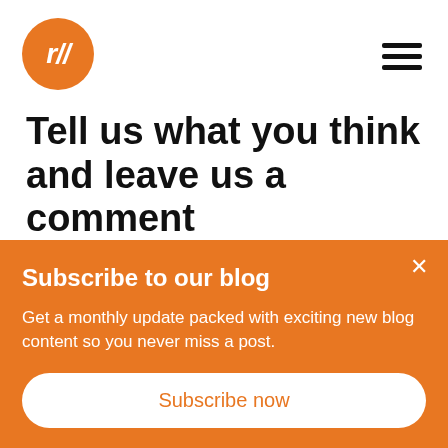[Figure (logo): Orange circle logo with white italic r// text]
Tell us what you think and leave us a comment
First Name*
Subscribe to our blog
Get a monthly update packed with exciting new blog content so you never miss a post.
Subscribe now